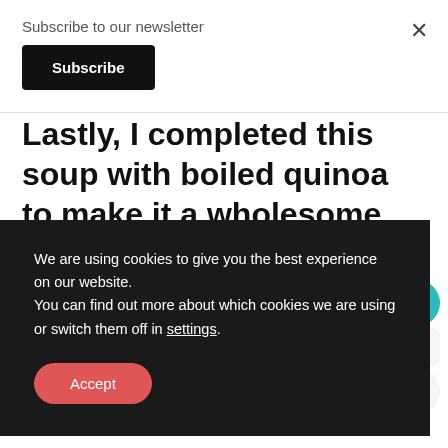Subscribe to our newsletter
Subscribe
×
Lastly, I completed this soup with boiled quinoa to make it a wholesome meal. At this point i our
We are using cookies to give you the best experience on our website.
You can find out more about which cookies we are using or switch them off in settings.
Accept
25
WHAT'S NEXT →
Farro Salad in Butternut...